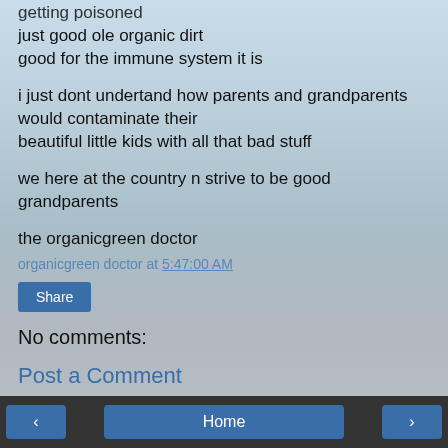getting poisoned
just good ole organic dirt
good for the immune system it is
i just dont undertand how parents and grandparents would contaminate their beautiful little kids with all that bad stuff
we here at the country n strive to be good grandparents
the organicgreen doctor
organicgreen doctor at 5:47:00 AM
Share
No comments:
Post a Comment
< Home >